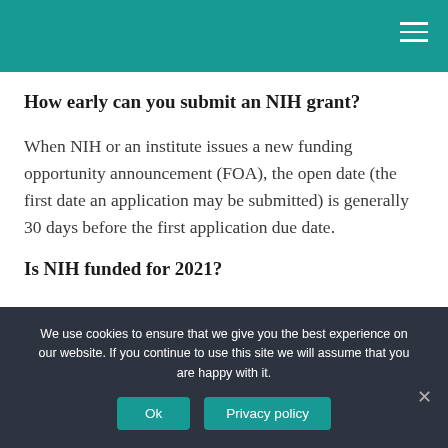How early can you submit an NIH grant?
When NIH or an institute issues a new funding opportunity announcement (FOA), the open date (the first date an application may be submitted) is generally 30 days before the first application due date.
Is NIH funded for 2021?
We use cookies to ensure that we give you the best experience on our website. If you continue to use this site we will assume that you are happy with it.